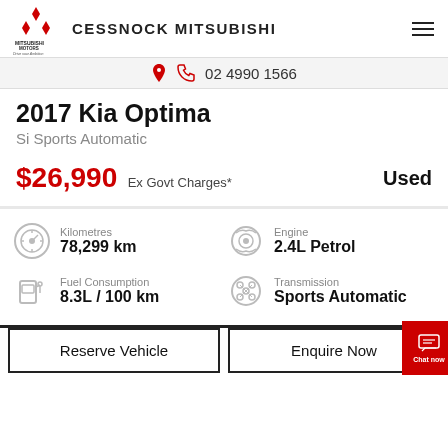CESSNOCK MITSUBISHI
02 4990 1566
2017 Kia Optima
Si Sports Automatic
$26,990 Ex Govt Charges* Used
Kilometres: 78,299 km
Engine: 2.4L Petrol
Fuel Consumption: 8.3L / 100 km
Transmission: Sports Automatic
Reserve Vehicle
Enquire Now